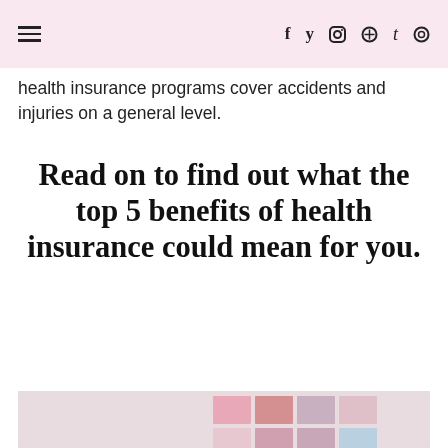≡  f  t  [instagram]  [pinterest]  t  [search]
health insurance programs cover accidents and injuries on a general level.
Read on to find out what the top 5 benefits of health insurance could mean for you.
[Figure (photo): Two blonde women posing together in front of a pink mood board collage wall with various pink-toned photos pinned to it]